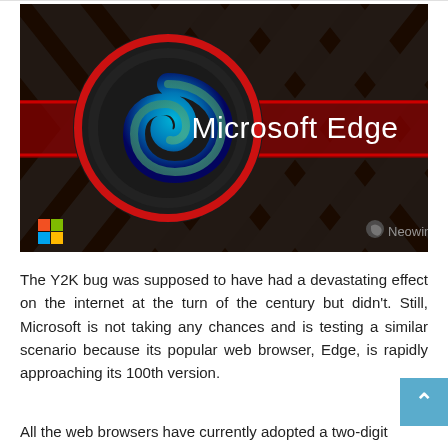[Figure (screenshot): Microsoft Edge promotional image with dark geometric background pattern, Edge browser logo (blue-green swirl) in a red-ringed circle on the left, 'Microsoft Edge' text in white on center-right, Microsoft Windows logo in bottom-left corner, and Neowin watermark in bottom-right corner.]
The Y2K bug was supposed to have had a devastating effect on the internet at the turn of the century but didn't. Still, Microsoft is not taking any chances and is testing a similar scenario because its popular web browser, Edge, is rapidly approaching its 100th version.
All the web browsers have currently adopted a two-digit